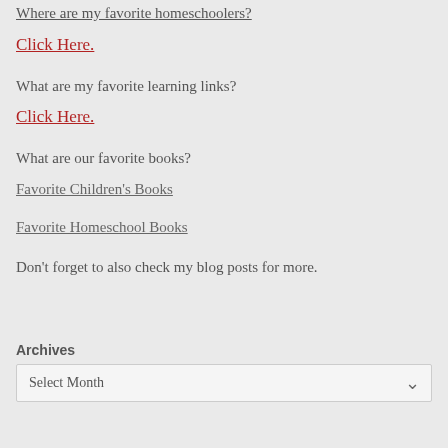Where are my favorite homeschoolers?
Click Here.
What are my favorite learning links?
Click Here.
What are our favorite books?
Favorite Children's Books
Favorite Homeschool Books
Don't forget to also check my blog posts for more.
Archives
Select Month